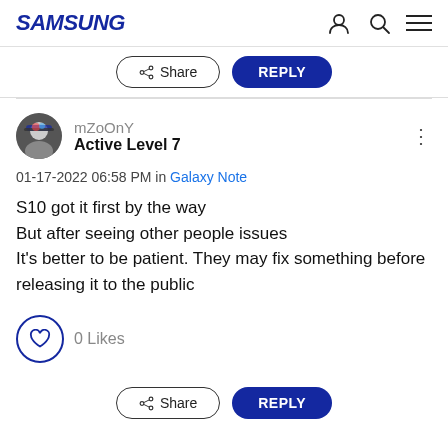SAMSUNG
Share   REPLY
mZoOnY
Active Level 7
01-17-2022 06:58 PM in Galaxy Note
S10 got it first by the way
But after seeing other people issues
It's better to be patient. They may fix something before releasing it to the public
0 Likes
Share   REPLY